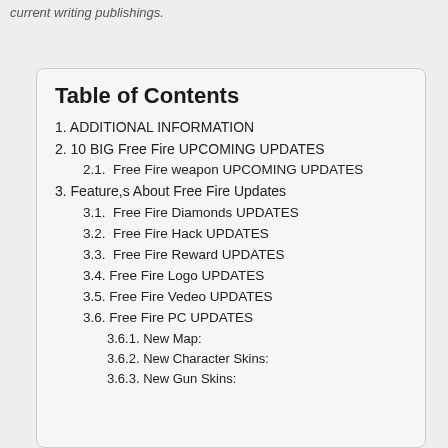current writing publishings.
Table of Contents
1. ADDITIONAL INFORMATION
2. 10 BIG Free Fire UPCOMING UPDATES
2.1.  Free Fire weapon UPCOMING UPDATES
3. Feature,s About Free Fire Updates
3.1.  Free Fire Diamonds UPDATES
3.2.  Free Fire Hack UPDATES
3.3.  Free Fire Reward UPDATES
3.4. Free Fire Logo UPDATES
3.5. Free Fire Vedeo UPDATES
3.6. Free Fire PC UPDATES
3.6.1. New Map:
3.6.2. New Character Skins:
3.6.3. New Gun Skins: